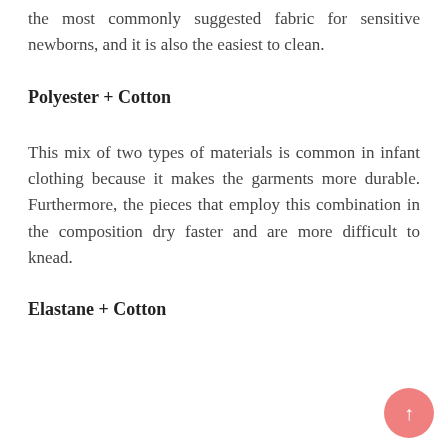the most commonly suggested fabric for sensitive newborns, and it is also the easiest to clean.
Polyester + Cotton
This mix of two types of materials is common in infant clothing because it makes the garments more durable. Furthermore, the pieces that employ this combination in the composition dry faster and are more difficult to knead.
Elastane + Cotton